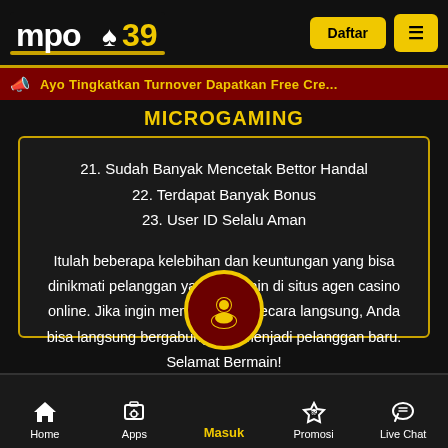[Figure (logo): mpo39 logo with spade symbol, white and yellow text on black background]
Daftar
≡
Ayo Tingkatkan Turnover Dapatkan Free Cre...
MICROGAMING
21. Sudah Banyak Mencetak Bettor Handal
22. Terdapat Banyak Bonus
23. User ID Selalu Aman
Itulah beberapa kelebihan dan keuntungan yang bisa dinikmati pelanggan yang bermain di situs agen casino online. Jika ingin menikmatinya secara langsung, Anda bisa langsung bergabung dan menjadi pelanggan baru. Selamat Bermain!
Home | Apps | Masuk | Promosi | Live Chat